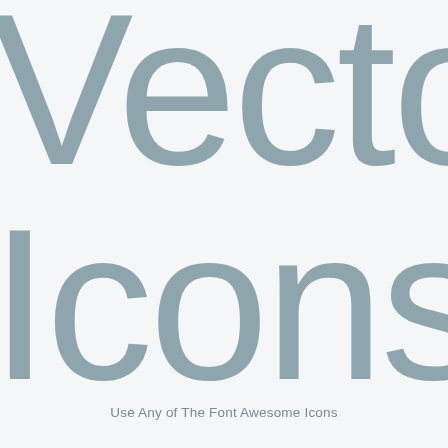Vector Icons
Use Any of The Font Awesome Icons